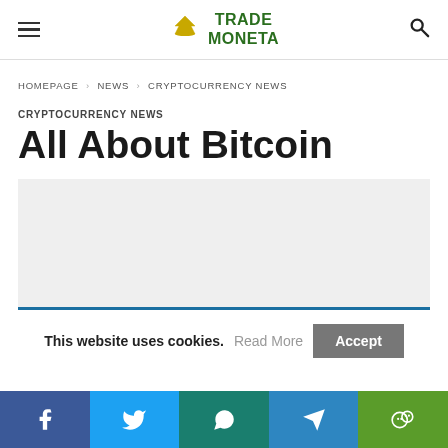TRADE MONETA
HOMEPAGE > NEWS > CRYPTOCURRENCY NEWS
CRYPTOCURRENCY NEWS
All About Bitcoin
[Figure (other): Advertisement placeholder gray box]
This website uses cookies. Read More Accept
Social share bar: Facebook, Twitter, WhatsApp, Telegram, WeChat